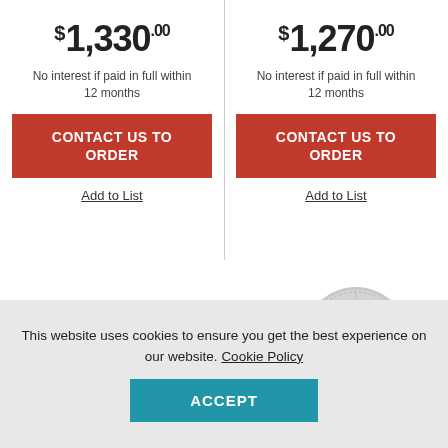$1,330.00
No interest if paid in full within 12 months
CONTACT US TO ORDER
Add to List
$1,270.00
No interest if paid in full within 12 months
CONTACT US TO ORDER
Add to List
[Figure (photo): Black 1U rack-mount audio device]
[Figure (photo): Silver circular speaker or microphone device]
This website uses cookies to ensure you get the best experience on our website. Cookie Policy
ACCEPT